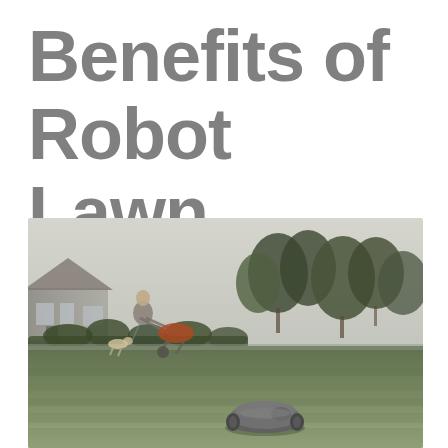Benefits of Robot Lawn Mowers
[Figure (photo): A robot lawn mower operating autonomously on a green lawn in the foreground, while a person pushes a wheelbarrow in the background near a large suburban house surrounded by trees and shrubs.]